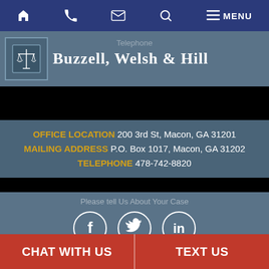Home | Phone | Mail | Search | Menu
[Figure (logo): Buzzell, Welsh & Hill law firm logo with scales of justice icon and firm name]
Telephone
OFFICE LOCATION 200 3rd St, Macon, GA 31201
MAILING ADDRESS P.O. Box 1017, Macon, GA 31202
TELEPHONE 478-742-8820
Please tell Us About Your Case
[Figure (infographic): Social media icons: Facebook, Twitter, LinkedIn circles]
[Figure (logo): MileMark Media - Practice Growth Solutions badge with reCAPTCHA notice]
© 2022 Buzzell, Welsh & Hill. All rights reserved. This law firm website and legal marketing are managed by MileMark Media.
Submit
CHAT WITH US | TEXT US